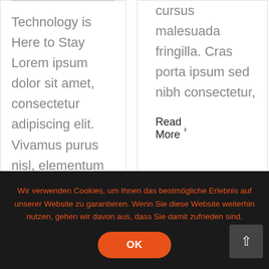Technology is Here to Stay Lorem ipsum dolor sit amet, consectetur adipiscing elit. Vivamus purus nisl, elementum vitae consequat
cursus malesuada fringilla. Cras porta ipsum sed nibh consectetur,
Read More >
Wir verwenden Cookies, um Ihnen das bestmögliche Erlebnis auf unserer Website zu garantieren. Wenn Sie diese Website weiterhin nutzen, gehen wir davon aus, dass Sie damit zufrieden sind.
OK